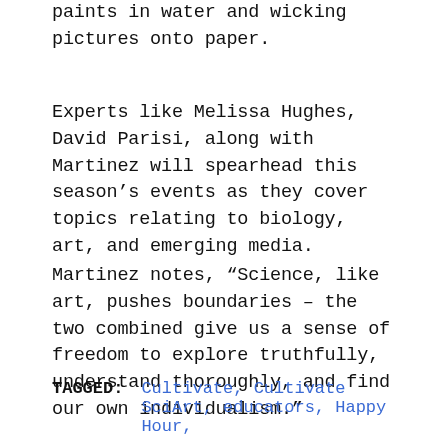paints in water and wicking pictures onto paper.
Experts like Melissa Hughes, David Parisi, along with Martinez will spearhead this season’s events as they cover topics relating to biology, art, and emerging media.
Martinez notes, “Science, like art, pushes boundaries – the two combined give us a sense of freedom to explore truthfully, understand thoroughly, and find our own individualism.”
TAGGED: Cultivate, Cultivate SciArt, educators, Happy Hour,